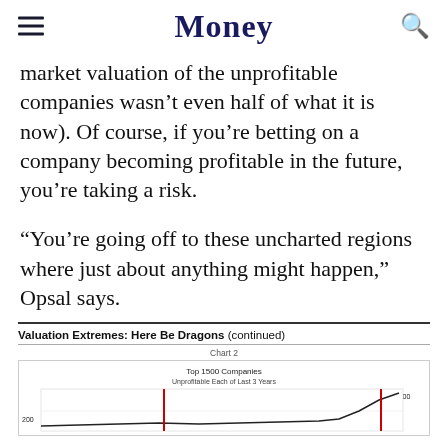Money
market valuation of the unprofitable companies wasn't even half of what it is now). Of course, if you're betting on a company becoming profitable in the future, you're taking a risk.
“You’re going off to these uncharted regions where just about anything might happen,” Opsal says.
Valuation Extremes: Here Be Dragons (continued)
[Figure (line-chart): Chart 2: Line chart showing top 1500 companies unprofitable each of last 3 years, with y-axis labels 200 and $2,500 visible, and red vertical markers on the line.]